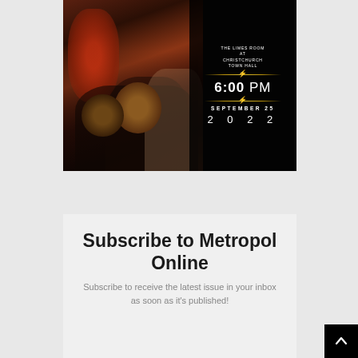[Figure (photo): Event promotional image for a show at The Limes Room at Christchurch Town Hall on September 25, 2022 at 6:00 PM. Shows crowd of people from behind with dark overlay on right side containing event details in white and gold text.]
Subscribe to Metropol Online
Subscribe to receive the latest issue in your inbox as soon as it's published!